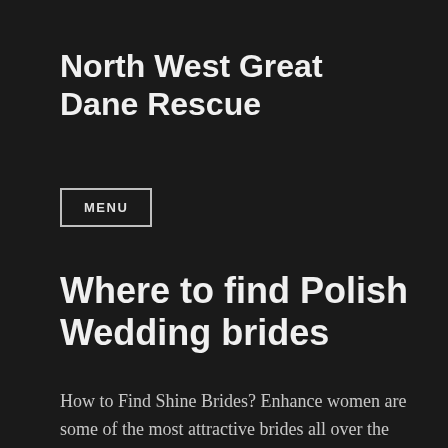North West Great Dane Rescue
MENU
Where to find Polish Wedding brides
How to Find Shine Brides? Enhance women are some of the most attractive brides all over the world. They are a beautiful blend of stay at home mom, lover, and mother, all twisted into